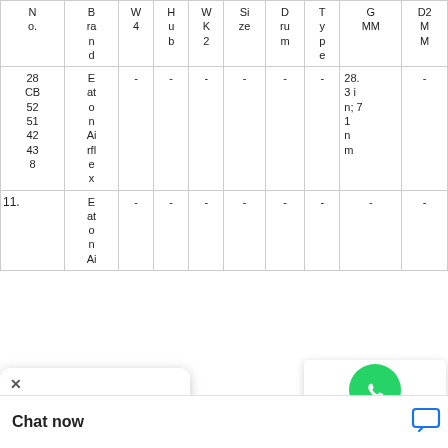| No. | Brand | W4 | Hub | WK2 | Size | Drum | Type | GMM | D2MM |
| --- | --- | --- | --- | --- | --- | --- | --- | --- | --- |
| 28 CB 52 51 42 43 8 | Eaton Airflex | - | - | - | - | - | - | 28.3 in; 719 mm | - |
| 11. ... | Eaton Ai... | - | - | - | - | - | - | - | - |
[Figure (other): WhatsApp Online button overlay with green phone icon and text 'WhatsApp Online']
[Figure (other): Browser popup overlay with X close button and three dots menu]
Chat now